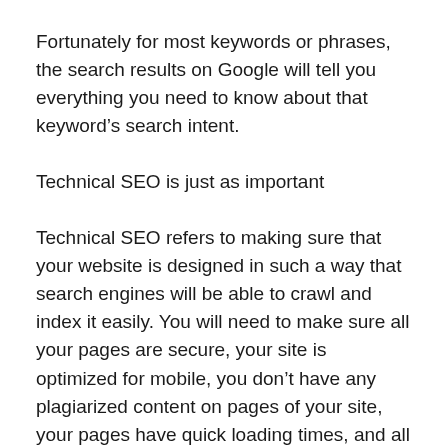Fortunately for most keywords or phrases, the search results on Google will tell you everything you need to know about that keyword’s search intent.
Technical SEO is just as important
Technical SEO refers to making sure that your website is designed in such a way that search engines will be able to crawl and index it easily. You will need to make sure all your pages are secure, your site is optimized for mobile, you don’t have any plagiarized content on pages of your site, your pages have quick loading times, and all the links